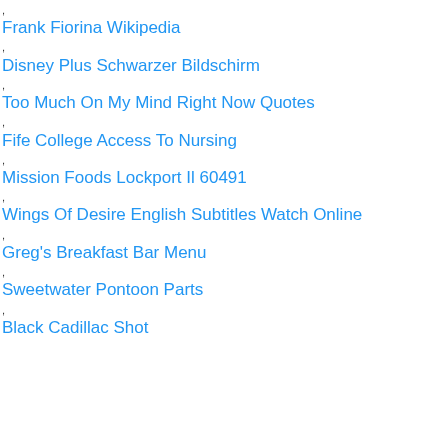, Frank Fiorina Wikipedia
, Disney Plus Schwarzer Bildschirm
, Too Much On My Mind Right Now Quotes
, Fife College Access To Nursing
, Mission Foods Lockport Il 60491
, Wings Of Desire English Subtitles Watch Online
, Greg's Breakfast Bar Menu
, Sweetwater Pontoon Parts
, Black Cadillac Shot